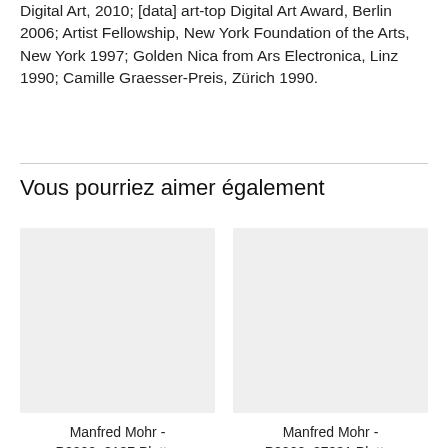Digital Art, 2010; [data] art-top Digital Art Award, Berlin 2006; Artist Fellowship, New York Foundation of the Arts, New York 1997; Golden Nica from Ars Electronica, Linz 1990; Camille Graesser-Preis, Zürich 1990.
Vous pourriez aimer également
[Figure (photo): Placeholder image for Manfred Mohr - P2202_8137 Plotter]
Manfred Mohr - P2202_8137 Plotter
[Figure (photo): Placeholder image for Manfred Mohr - P2202_27831 Plotter]
Manfred Mohr - P2202_27831 Plotter